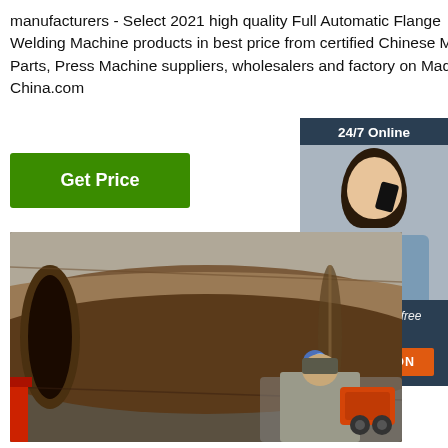manufacturers - Select 2021 high quality Full Automatic Flange Welding Machine products in best price from certified Chinese Metal Parts, Press Machine suppliers, wholesalers and factory on Made-in-China.com
[Figure (other): 24/7 Online support sidebar with agent photo, 'Click here for free chat!' text and QUOTATION button]
[Figure (photo): Photo of a large industrial pipe being welded with sparks visible, and a worker wearing protective gear operating welding equipment]